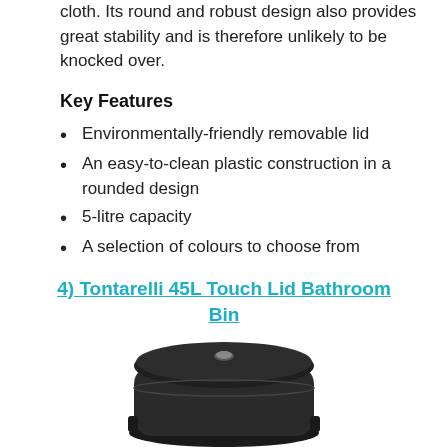cloth. Its round and robust design also provides great stability and is therefore unlikely to be knocked over.
Key Features
Environmentally-friendly removable lid
An easy-to-clean plastic construction in a rounded design
5-litre capacity
A selection of colours to choose from
4) Tontarelli 45L Touch Lid Bathroom Bin
[Figure (photo): A dark/black bathroom bin with a touch lid, viewed from above at a slight angle, showing rounded top with a button in the center.]